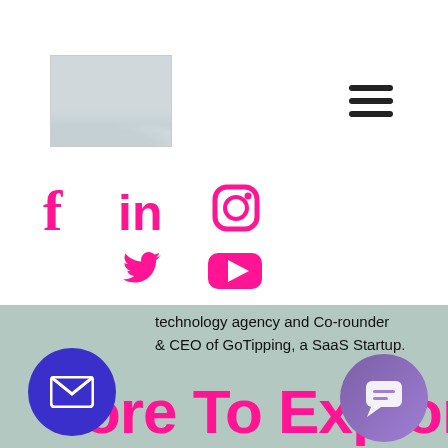[Figure (logo): Logo placeholder image with gray gradient resembling a landscape or sky]
[Figure (illustration): Hamburger/menu icon with three horizontal black lines]
[Figure (illustration): Social media icons row 1: Facebook (f), LinkedIn (in), Instagram (camera) in pink/magenta]
[Figure (illustration): Social media icons row 2: Twitter bird, YouTube play button in pink/magenta]
technology agency and Co-rounder & CEO of GoTipping, a SaaS Startup.
ore To Explore
[Figure (illustration): Purple circle button with envelope/mail icon]
[Figure (illustration): Purple/lavender circle button with chat bubble icon]